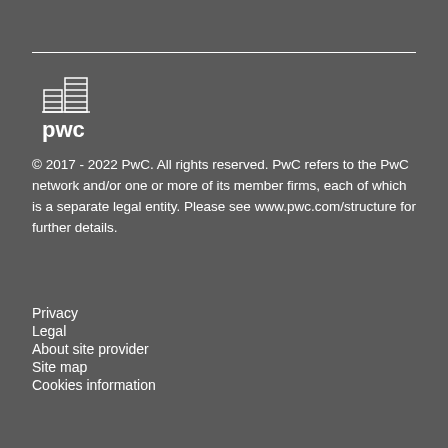[Figure (logo): PwC logo — building icon above 'pwc' lowercase text in white]
© 2017 - 2022 PwC. All rights reserved. PwC refers to the PwC network and/or one or more of its member firms, each of which is a separate legal entity. Please see www.pwc.com/structure for further details.
Privacy
Legal
About site provider
Site map
Cookies information